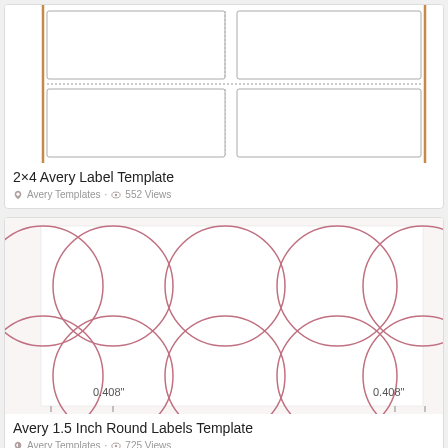[Figure (illustration): 2x4 Avery label template showing a grid of 4 rectangular label outlines arranged in 2 columns and 2 rows with orange border lines]
2×4 Avery Label Template
Avery Templates · 552 Views
[Figure (illustration): Avery 1.5 Inch Round Labels Template showing circular label outlines arranged in a 4-column 2-row grid with pink/rose colored outlines, measurements 0.408" shown on left and right sides]
Avery 1.5 Inch Round Labels Template
Avery Templates · 725 Views